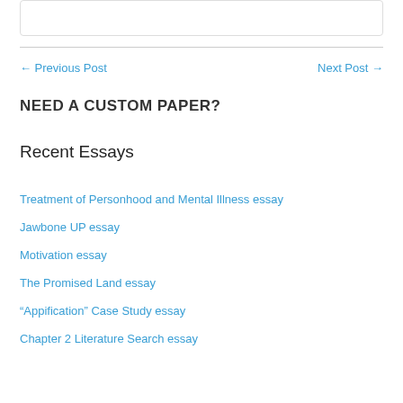← Previous Post    Next Post →
NEED A CUSTOM PAPER?
Recent Essays
Treatment of Personhood and Mental Illness essay
Jawbone UP essay
Motivation essay
The Promised Land essay
“Appification” Case Study essay
Chapter 2 Literature Search essay